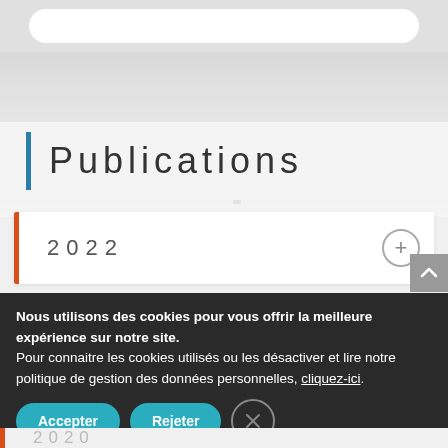[Figure (screenshot): Top navigation bar with white rounded search/nav bar on grey background]
Publications
2022
Nous utilisons des cookies pour vous offrir la meilleure expérience sur notre site.
Pour connaitre les cookies utilisés ou les désactiver et lire notre politique de gestion des données personnelles, cliquez-ici.
Accepter
Rejeter